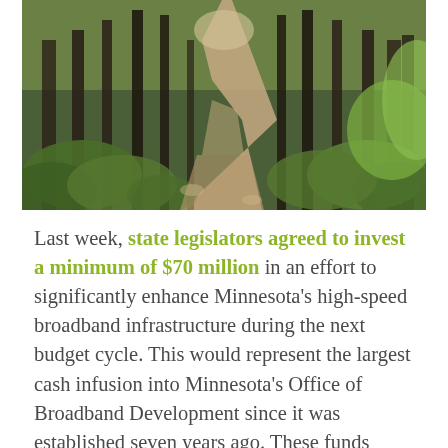[Figure (photo): A forest path lined with tall pine trees, with dappled light and green undergrowth on either side, stretching into the distance.]
Last week, state legislators agreed to invest a minimum of $70 million in an effort to significantly enhance Minnesota's high-speed broadband infrastructure during the next budget cycle. This would represent the largest cash infusion into Minnesota's Office of Broadband Development since it was established seven years ago. These funds could prove critical to connecting rural areas